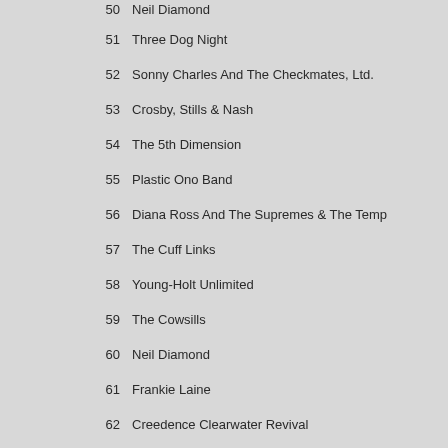50  Neil Diamond
51  Three Dog Night
52  Sonny Charles And The Checkmates, Ltd.
53  Crosby, Stills & Nash
54  The 5th Dimension
55  Plastic Ono Band
56  Diana Ross And The Supremes & The Temp
57  The Cuff Links
58  Young-Holt Unlimited
59  The Cowsills
60  Neil Diamond
61  Frankie Laine
62  Creedence Clearwater Revival
63  Johnny Cash
64  Tammy Wynette
65  Sly & The Family Stone
66  Classics IV Featuring Dennis Yost
67  Buchanan Brothers
68  Bettye Swann